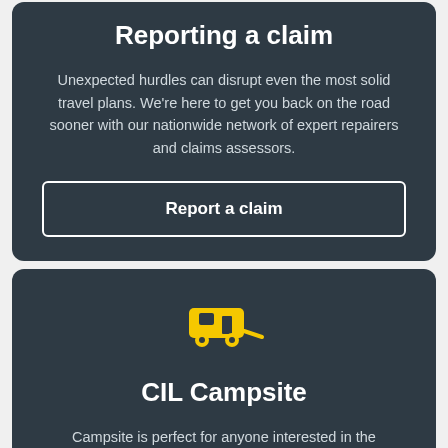Reporting a claim
Unexpected hurdles can disrupt even the most solid travel plans. We're here to get you back on the road sooner with our nationwide network of expert repairers and claims assessors.
Report a claim
[Figure (illustration): Yellow icon of a caravan/RV trailer being towed]
CIL Campsite
Campsite is perfect for anyone interested in the caravanning and RV lifestyle. It includes directories, things to see and do, product information, and even travel and towing tips.